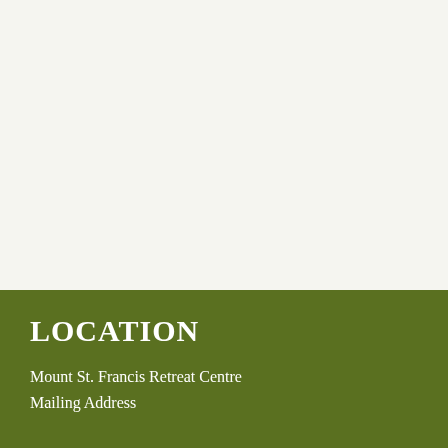[Figure (photo): Light gray/off-white background area occupying the upper portion of the page]
LOCATION
Mount St. Francis Retreat Centre
Mailing Address